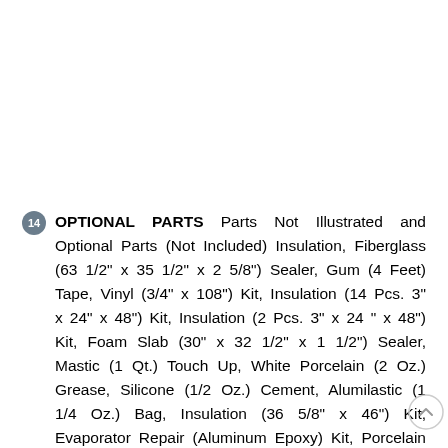14 OPTIONAL PARTS Parts Not Illustrated and Optional Parts (Not Included) Insulation, Fiberglass (63 1/2" x 35 1/2" x 2 5/8") Sealer, Gum (4 Feet) Tape, Vinyl (3/4" x 108") Kit, Insulation (14 Pcs. 3" x 24" x 48") Kit, Insulation (2 Pcs. 3" x 24 " x 48") Kit, Foam Slab (30" x 32 1/2" x 1 1/2") Sealer, Mastic (1 Qt.) Touch Up, White Porcelain (2 Oz.) Grease, Silicone (1/2 Oz.) Cement, Alumilastic (1 1/4 Oz.) Bag, Insulation (36 5/8" x 46") Kit, Evaporator Repair (Aluminum Epoxy) Kit, Porcelain Repair (White) Cork Sealer (1/4 Pound) Customer Touch Up Material Primer, White (12 Oz. Spray Can) Enamel, Black (12 Oz. Spray Can)